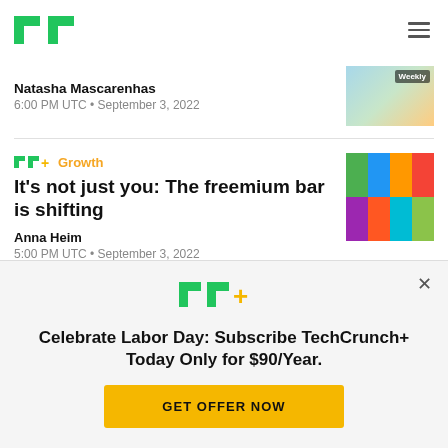TechCrunch logo and navigation
Natasha Mascarenhas
6:00 PM UTC • September 3, 2022
TC+ Growth
It's not just you: The freemium bar is shifting
Anna Heim
5:00 PM UTC • September 3, 2022
Celebrate Labor Day: Subscribe TechCrunch+ Today Only for $90/Year.
GET OFFER NOW